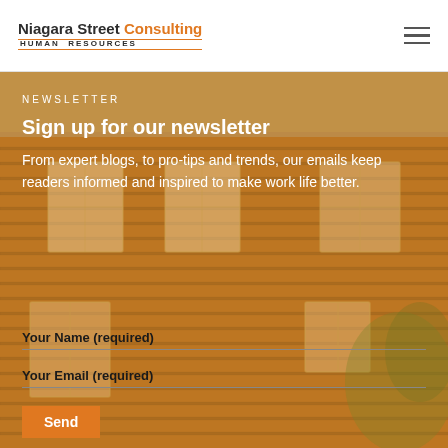Niagara Street Consulting Human Resources
NEWSLETTER
Sign up for our newsletter
From expert blogs, to pro-tips and trends, our emails keep readers informed and inspired to make work life better.
Your Name (required)
Your Email (required)
Send